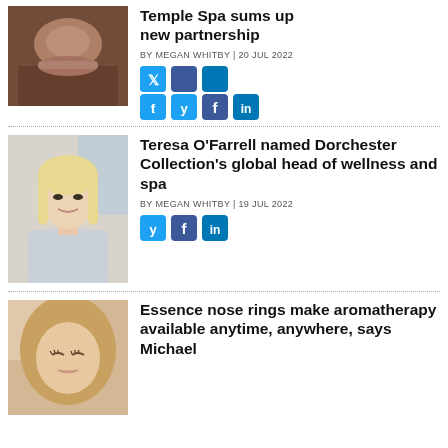Temple Spa sums up new partnership
BY MEGAN WHITBY | 20 JUL 2022
[Figure (photo): Social media sharing icons: Twitter, Facebook, LinkedIn]
Teresa O’Farrell named Dorchester Collection’s global head of wellness and spa
BY MEGAN WHITBY | 19 JUL 2022
[Figure (photo): Social media sharing icons: Twitter, Facebook, LinkedIn]
Essence nose rings make aromatherapy available anytime, anywhere, says Michael